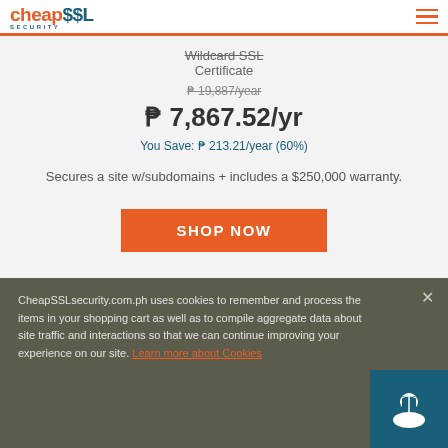CheapSSL Security
Wildcard SSL Certificate
₱ 19,887/year (strikethrough original price)
₱ 7,867.52/yr
You Save: ₱ 213.21/year (60%)
Secures a site w/subdomains + includes a $250,000 warranty.
SHOP NOW
CheapSSLsecurity.com.ph uses cookies to remember and process the items in your shopping cart as well as to compile aggregate data about site traffic and interactions so that we can continue improving your experience on our site. Learn more about Cookies